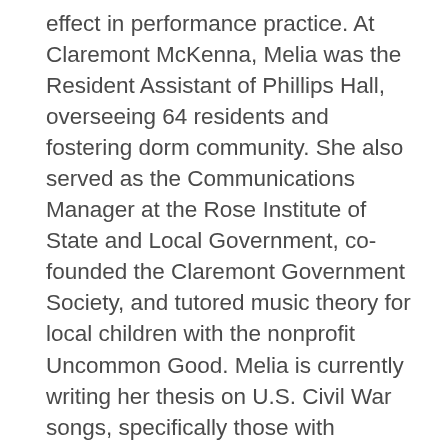effect in performance practice. At Claremont McKenna, Melia was the Resident Assistant of Phillips Hall, overseeing 64 residents and fostering dorm community. She also served as the Communications Manager at the Rose Institute of State and Local Government, co-founded the Claremont Government Society, and tutored music theory for local children with the nonprofit Uncommon Good. Melia is currently writing her thesis on U.S. Civil War songs, specifically those with melodies shared by both Union and Confederate forces, but with altered lyrics. She plans to pursue a Ph.D. in musicology or ethnomusicology. A Seattle native, she enjoys tea, good books, and attending performances of classical music.